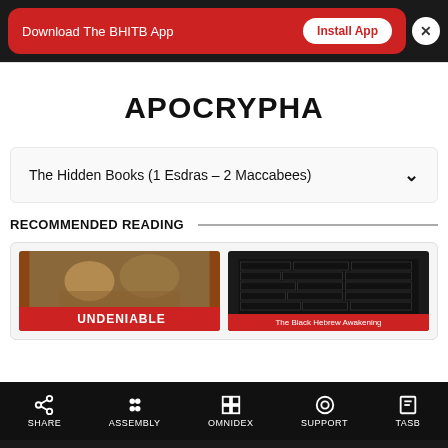[Figure (screenshot): Red banner with 'Download The BHITB App' text and 'Install App' button, with close X button]
APOCRYPHA
The Hidden Books (1 Esdras – 2 Maccabees)
RECOMMENDED READING
[Figure (photo): Two book covers: 'UNDENIABLE' and 'The Black Hebrew Awakening']
SHARE  ASSEMBLY  OMNIDEX  SUPPORT  TASB